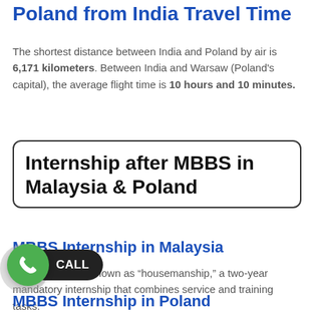Poland from India Travel Time
The shortest distance between India and Poland by air is 6,171 kilometers. Between India and Warsaw (Poland's capital), the average flight time is 10 hours and 10 minutes.
Internship after MBBS in Malaysia & Poland
MBBS Internship in Malaysia
In Malaysia, it is known as “housemanship,” a two-year mandatory internship that combines service and training tasks.
MBBS Internship in Poland